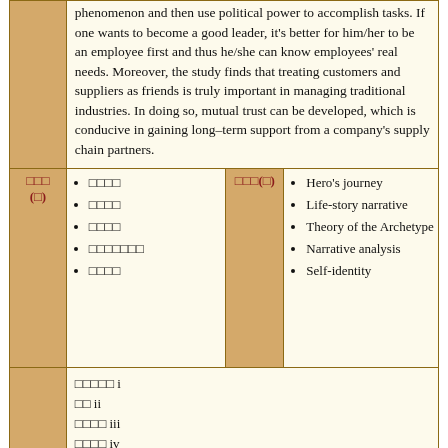phenomenon and then use political power to accomplish tasks. If one wants to become a good leader, it's better for him/her to be an employee first and thus he/she can know employees' real needs. Moreover, the study finds that treating customers and suppliers as friends is truly important in managing traditional industries. In doing so, mutual trust can be developed, which is conducive in gaining long–term support from a company's supply chain partners.
| □□□ (□) | • □□□□
• □□□□
• □□□□
• □□□□□□□
• □□□□ | □□□(□) | • Hero's journey
• Life-story narrative
• Theory of the Archetype
• Narrative analysis
• Self-identity |
|  | □□□□□ i
□□ ii
□□□□ iii
□□□□ iv |  |  |